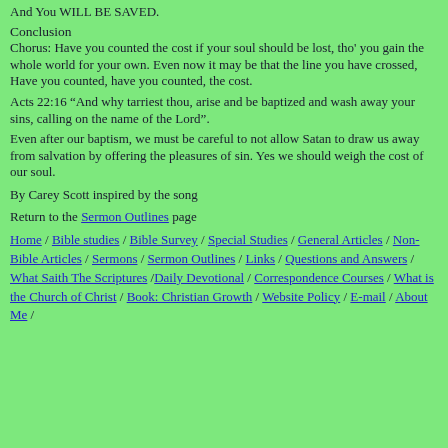And You WILL BE SAVED.
Conclusion
Chorus: Have you counted the cost if your soul should be lost, tho' you gain the whole world for your own. Even now it may be that the line you have crossed, Have you counted, have you counted, the cost.
Acts 22:16 “And why tarriest thou, arise and be baptized and wash away your sins, calling on the name of the Lord”.
Even after our baptism, we must be careful to not allow Satan to draw us away from salvation by offering the pleasures of sin. Yes we should weigh the cost of our soul.
By Carey Scott inspired by the song
Return to the Sermon Outlines page
Home / Bible studies / Bible Survey / Special Studies / General Articles / Non-Bible Articles / Sermons / Sermon Outlines / Links / Questions and Answers / What Saith The Scriptures /Daily Devotional / Correspondence Courses / What is the Church of Christ / Book: Christian Growth / Website Policy / E-mail / About Me /